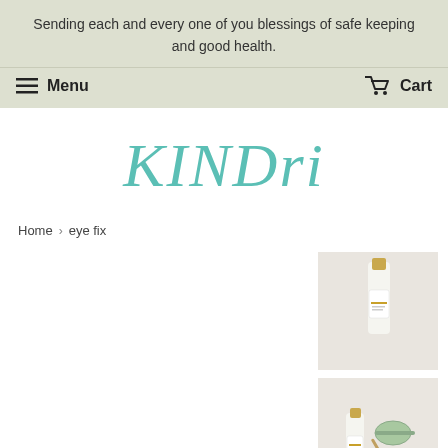Sending each and every one of you blessings of safe keeping and good health.
Menu
Cart
KINDri
Home › eye fix
[Figure (photo): Product photo of a small serum roller bottle with gold cap against light background]
[Figure (photo): Product photo of a roller bottle and green jade roller tool against light background]